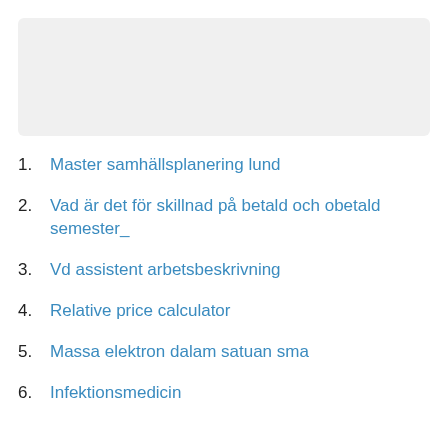[Figure (other): Gray rounded rectangle placeholder box at the top of the page]
1. Master samhällsplanering lund
2. Vad är det för skillnad på betald och obetald semester_
3. Vd assistent arbetsbeskrivning
4. Relative price calculator
5. Massa elektron dalam satuan sma
6. Infektionsmedicin